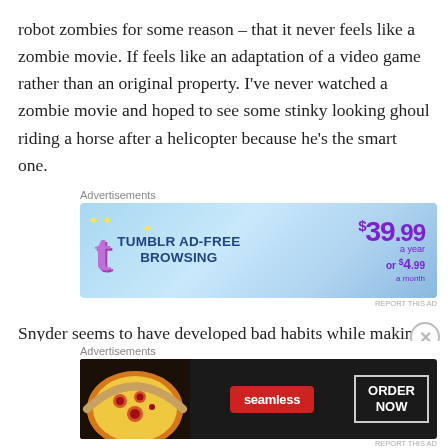robot zombies for some reason – that it never feels like a zombie movie. If feels like an adaptation of a video game rather than an original property. I've never watched a zombie movie and hoped to see some stinky looking ghoul riding a horse after a helicopter because he's the smart one.
Advertisements
[Figure (other): Tumblr Ad-Free Browsing advertisement banner. Blue gradient background with Tumblr 't' logo in purple, sparkle stars, text 'TUMBLR AD-FREE BROWSING' and price '$39.99 a year or $4.99 a month']
Snyder seems to have developed bad habits while making his DC movies, because there are two problems that plagued those movies that are just as evident here. The
Advertisements
[Figure (other): Seamless food delivery advertisement banner. Dark background with pizza image on left, Seamless logo in red badge, and 'ORDER NOW' button on right.]